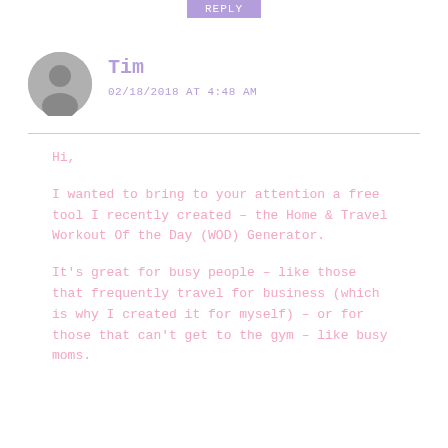REPLY
Tim
02/18/2018 AT 4:48 AM
Hi,

I wanted to bring to your attention a free tool I recently created – the Home & Travel Workout Of the Day (WOD) Generator.

It's great for busy people – like those that frequently travel for business (which is why I created it for myself) – or for those that can't get to the gym – like busy moms.